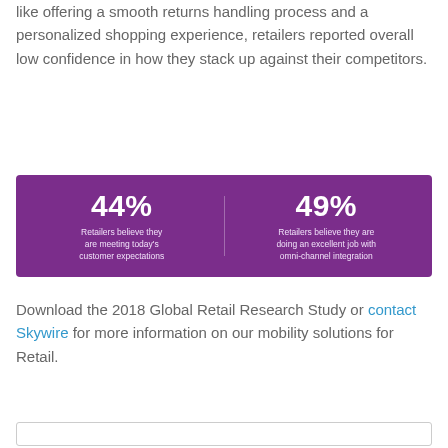like offering a smooth returns handling process and a personalized shopping experience, retailers reported overall low confidence in how they stack up against their competitors.
[Figure (infographic): Purple infographic box with two statistics: '44% Retailers believe they are meeting today's customer expectations' and '49% Retailers believe they are doing an excellent job with omni-channel integration']
Download the 2018 Global Retail Research Study or contact Skywire for more information on our mobility solutions for Retail.